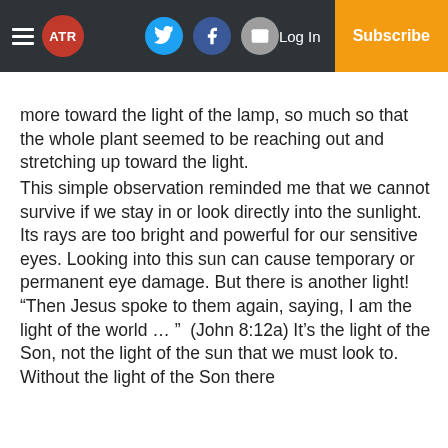ATR navigation bar with logo, social icons (Twitter, Facebook, Email), Log In, and Subscribe button
more toward the light of the lamp, so much so that the whole plant seemed to be reaching out and stretching up toward the light. This simple observation reminded me that we cannot survive if we stay in or look directly into the sunlight. Its rays are too bright and powerful for our sensitive eyes. Looking into this sun can cause temporary or permanent eye damage. But there is another light! “Then Jesus spoke to them again, saying, I am the light of the world … ”  (John 8:12a) It’s the light of the Son, not the light of the sun that we must look to. Without the light of the Son there